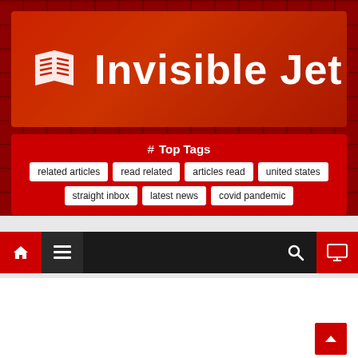Invisible Jet
# Top Tags
related articles
read related
articles read
united states
straight inbox
latest news
covid pandemic
[Figure (screenshot): Navigation bar with home icon, hamburger menu, search icon, and monitor icon on dark background]
FICTION STORY
Top 10 Movies of 2021 Include 'West Side Story' and 'In the Heights' Musicals | Culture & Leisure